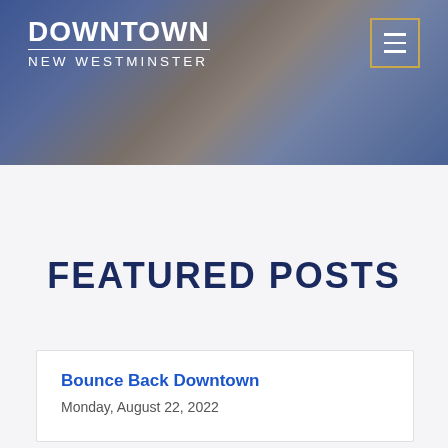[Figure (photo): Header banner with Downtown New Westminster logo on dark blue background with photo overlay of hands and sports/activity scene]
FEATURED POSTS
Bounce Back Downtown
Monday, August 22, 2022